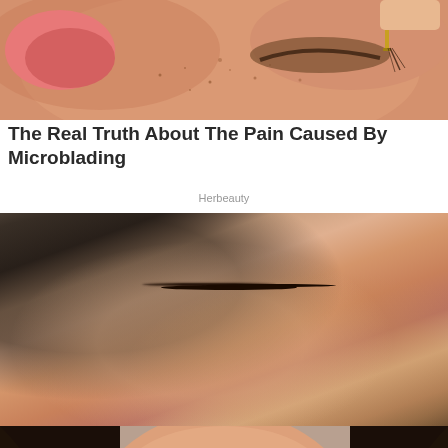[Figure (photo): Close-up photo of a woman's face lying down receiving microblading treatment on eyebrows, with pink blush, freckles visible, and a tool near the brow area]
The Real Truth About The Pain Caused By Microblading
Herbeauty
[Figure (photo): Close-up portrait of an Asian woman with bold winged eyeliner, long black hair, pink lips, and gold hoop earrings, with natural makeup look]